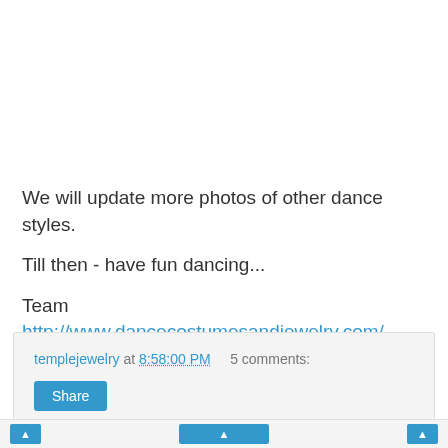We will update more photos of other dance styles.
Till then - have fun dancing...
Team http://www.dancecostumesandjewelry.com/
templejewelry at 8:58:00 PM   5 comments:
Share